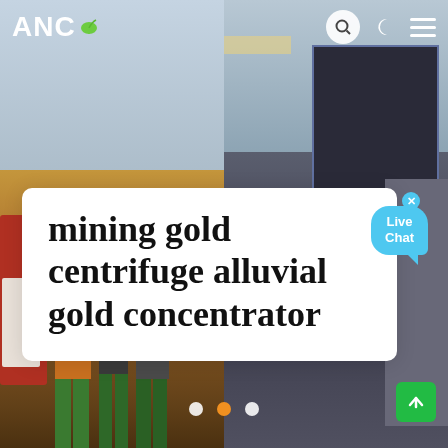[Figure (photo): Website screenshot showing ANC brand page with two background photos: left shows miners/workers standing on dirt ground, right shows industrial mining machinery. A white card overlay shows the page title. Navigation bar at top with ANC logo, search, moon and menu icons. Live Chat bubble overlay. Slider navigation dots at bottom. Green scroll-to-top button bottom right.]
ANC
mining gold centrifuge alluvial gold concentrator